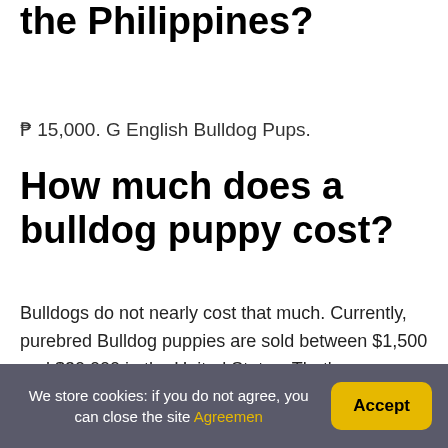the Philippines?
₱ 15,000. G English Bulldog Pups.
How much does a bulldog puppy cost?
Bulldogs do not nearly cost that much. Currently, purebred Bulldog puppies are sold between $1,500 and $30,000 in the United States. That's more or less twice the price of a Labrador Retriever, the most popular dog breed in the country. A purebred Lab puppy costs between $800 and $1200.
We store cookies: if you do not agree, you can close the site Agreemen | Accept